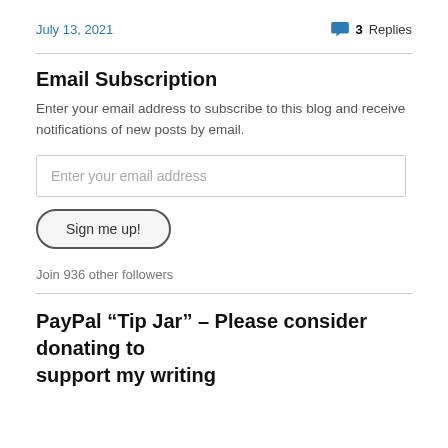July 13, 2021
💬 3 Replies
Email Subscription
Enter your email address to subscribe to this blog and receive notifications of new posts by email.
Enter your email address
Sign me up!
Join 936 other followers
PayPal “Tip Jar” – Please consider donating to support my writing